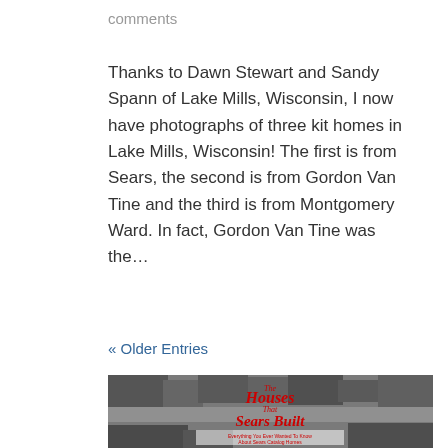comments
Thanks to Dawn Stewart and Sandy Spann of Lake Mills, Wisconsin, I now have photographs of three kit homes in Lake Mills, Wisconsin! The first is from Sears, the second is from Gordon Van Tine and the third is from Montgomery Ward. In fact, Gordon Van Tine was the...
« Older Entries
[Figure (photo): Book cover for 'The Houses That Sears Built — Everything You Ever Wanted To Know About Sears Catalog Homes', shown against a black and white aerial photo of a neighborhood with kit homes.]